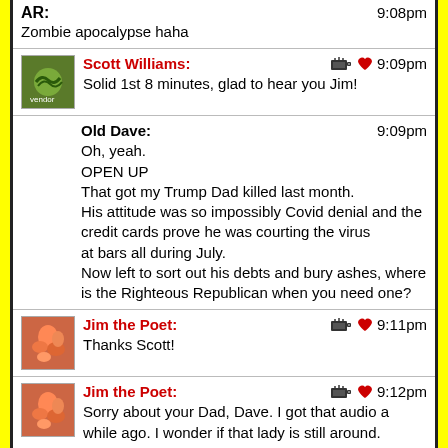AR: 9:08pm
Zombie apocalypse haha
Scott Williams: 9:09pm
Solid 1st 8 minutes, glad to hear you Jim!
Old Dave: 9:09pm
Oh, yeah.
OPEN UP
That got my Trump Dad killed last month.
His attitude was so impossibly Covid denial and the credit cards prove he was courting the virus
at bars all during July.
Now left to sort out his debts and bury ashes, where is the Righteous Republican when you need one?
Jim the Poet: 9:11pm
Thanks Scott!
Jim the Poet: 9:12pm
Sorry about your Dad, Dave. I got that audio a while ago. I wonder if that lady is still around.
Marie: 9:14pm
Yeah, nice set! I loved the zombie song. Was